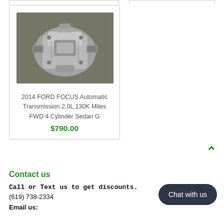[Figure (photo): Photo of a 2014 Ford Focus automatic transmission unit, silver/metallic colored, viewed from above, placed on a gray concrete floor]
2014 FORD FOCUS Automatic Transmission 2.0L 130K Miles FWD 4 Cylinder Sedan G
$790.00
Contact us
Call or Text us to get discounts.
(619) 738-2334
Email us:
Chat with us